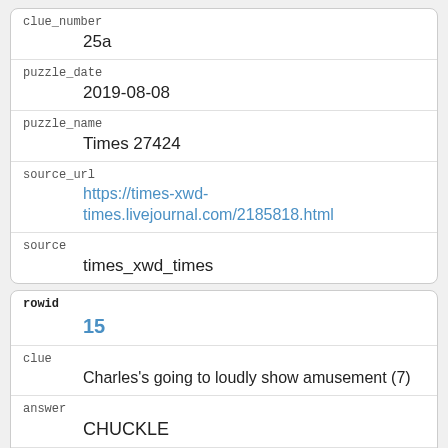| clue_number | 25a |
| puzzle_date | 2019-08-08 |
| puzzle_name | Times 27424 |
| source_url | https://times-xwd-times.livejournal.com/2185818.html |
| source | times_xwd_times |
| rowid | 15 |
| clue | Charles's going to loudly show amusement (7) |
| answer | CHUCKLE |
| definition | show amusement |